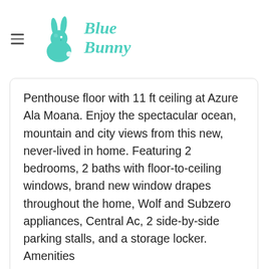[Figure (logo): Blue Bunny logo with teal/mint colored rabbit silhouette and stylized italic text 'Blue Bunny']
Penthouse floor with 11 ft ceiling at Azure Ala Moana. Enjoy the spectacular ocean, mountain and city views from this new, never-lived in home. Featuring 2 bedrooms, 2 baths with floor-to-ceiling windows, brand new window drapes throughout the home, Wolf and Subzero appliances, Central Ac, 2 side-by-side parking stalls, and a storage locker. Amenities